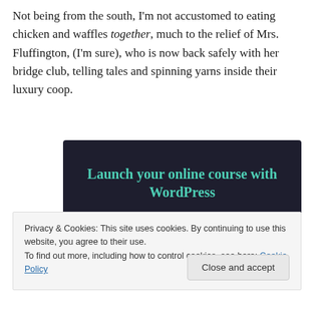Not being from the south, I'm not accustomed to eating chicken and waffles together, much to the relief of Mrs. Fluffington, (I'm sure), who is now back safely with her bridge club, telling tales and spinning yarns inside their luxury coop.
[Figure (other): Advertisement banner with dark background reading 'Launch your online course with WordPress' with a teal 'Learn More' button]
Privacy & Cookies: This site uses cookies. By continuing to use this website, you agree to their use.
To find out more, including how to control cookies, see here: Cookie Policy
Close and accept